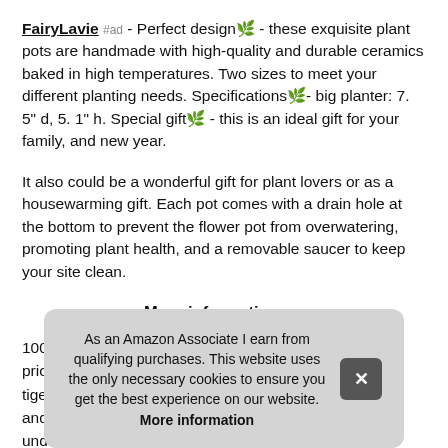FairyLavie #ad - Perfect design🌿 - these exquisite plant pots are handmade with high-quality and durable ceramics baked in high temperatures. Two sizes to meet your different planting needs. Specifications🌿- big planter: 7. 5" d, 5. 1" h. Special gift🌿 - this is an ideal gift for your family, and new year.
It also could be a wonderful gift for plant lovers or as a housewarming gift. Each pot comes with a drain hole at the bottom to prevent the flower pot from overwatering, promoting plant health, and a removable saucer to keep your site clean.
More information #ad
100 prio tige and und
As an Amazon Associate I earn from qualifying purchases. This website uses the only necessary cookies to ensure you get the best experience on our website. More information